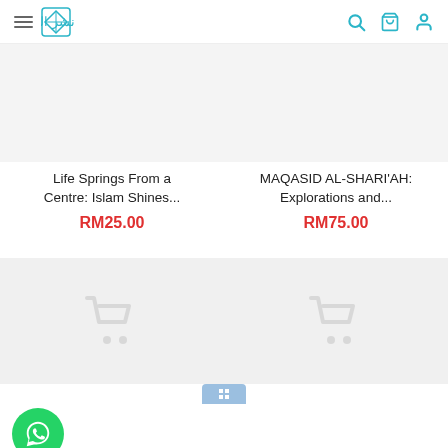Nashr Al-Quran bookstore header with hamburger menu, logo, search, cart, and user icons
Life Springs From a Centre: Islam Shines...
RM25.00
MAQASID AL-SHARI'AH: Explorations and...
RM75.00
[Figure (screenshot): Product card image placeholder (light grey background) for Life Springs From a Centre book]
[Figure (screenshot): Product card image placeholder (light grey background) for MAQASID AL-SHARI'AH book]
[Figure (screenshot): Bottom product card with grey background and faint cart icon]
[Figure (screenshot): Bottom product card with grey background and faint cart icon]
[Figure (logo): WhatsApp circular green button with phone/chat icon]